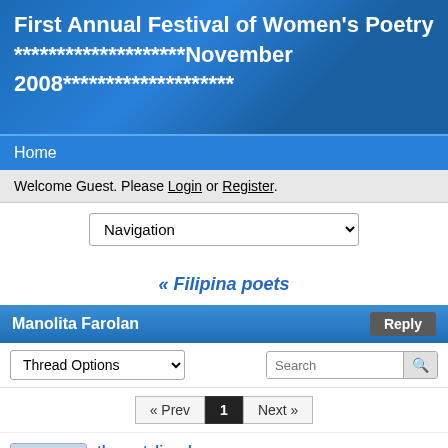First Annual Festival of Women's Poetry ********************November 2008********************
Home
Welcome Guest. Please Login or Register.
Navigation (dropdown)
« Filipina poets
Manolita Farolan
Thread Options | Search | Reply
« Prev  1  Next »
thepoetslizard
Full Member
★★★
Oct 10, 2008 at 2:00pm
Quote